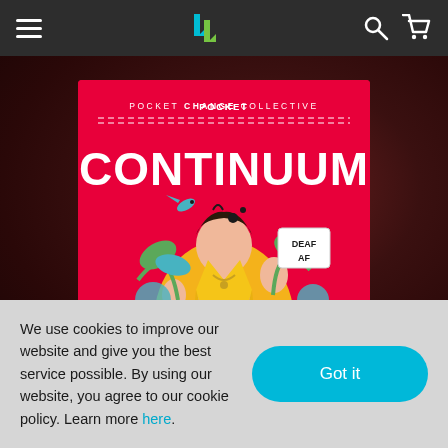Navigation bar with hamburger menu, logo (down-arrow icon), search and cart icons
[Figure (illustration): Book cover for 'Continuum' from the Pocket Change Collective series. Red background with illustrated young man in yellow jacket making a hand sign, surrounded by tropical plants and flowers. Text reads 'POCKET CHANGE COLLECTIVE' at top and 'CONTINUUM' in large white letters. A sign reading 'DEAF AF' is visible near the figure's head.]
We use cookies to improve our website and give you the best service possible. By using our website, you agree to our cookie policy. Learn more here.